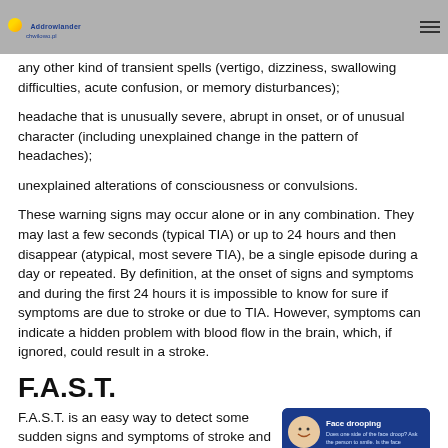Addrowlander (logo) — hamburger menu
any other kind of transient spells (vertigo, dizziness, swallowing difficulties, acute confusion, or memory disturbances);
headache that is unusually severe, abrupt in onset, or of unusual character (including unexplained change in the pattern of headaches);
unexplained alterations of consciousness or convulsions.
These warning signs may occur alone or in any combination. They may last a few seconds (typical TIA) or up to 24 hours and then disappear (atypical, most severe TIA), be a single episode during a day or repeated. By definition, at the onset of signs and symptoms and during the first 24 hours it is impossible to know for sure if symptoms are due to stroke or due to TIA. However, symptoms can indicate a hidden problem with blood flow in the brain, which, if ignored, could result in a stroke.
F.A.S.T.
F.A.S.T. is an easy way to detect some sudden signs and symptoms of stroke and prompt immediate action.
[Figure (infographic): F.A.S.T. stroke awareness infographic showing Face drooping and Arm weakness sections with illustrations of people]